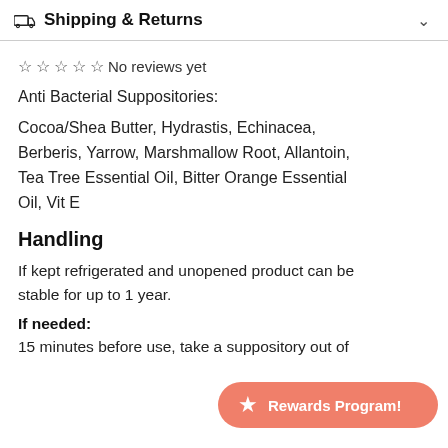Shipping & Returns
☆ ☆ ☆ ☆ ☆ No reviews yet
Anti Bacterial Suppositories:
Cocoa/Shea Butter, Hydrastis, Echinacea, Berberis, Yarrow, Marshmallow Root, Allantoin, Tea Tree Essential Oil, Bitter Orange Essential Oil, Vit E
Handling
If kept refrigerated and unopened product can be stable for up to 1 year.
If needed:
15 minutes before use, take a suppository out of
Rewards Program!